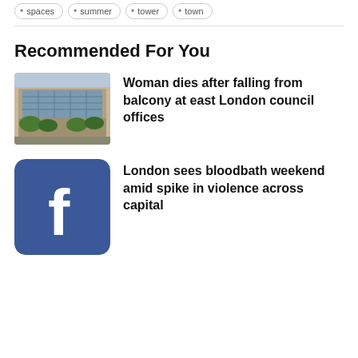spaces
summer
tower
town
Recommended For You
Woman dies after falling from balcony at east London council offices
[Figure (photo): Exterior of a glass-fronted modern council office building with trees in front]
[Figure (logo): Facebook logo: blue rounded square with white lowercase f]
London sees bloodbath weekend amid spike in violence across capital